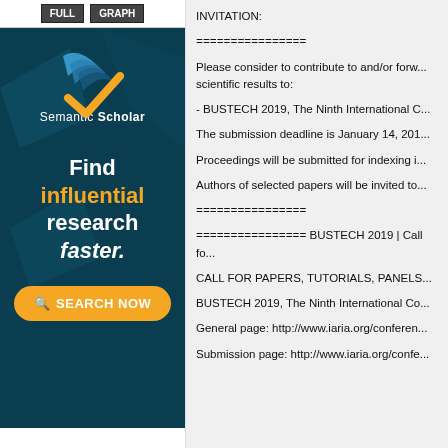[Figure (logo): Semantic Scholar advertisement with logo, tagline 'Find influential research faster.' and orange SEARCH NOW button on dark teal background]
INVITATION:
================
Please consider to contribute to and/or forward scientific results to:
- BUSTECH 2019, The Ninth International C...
The submission deadline is January 14, 201...
Proceedings will be submitted for indexing i...
Authors of selected papers will be invited to...
================
================ BUSTECH 2019 | Call fo...
CALL FOR PAPERS, TUTORIALS, PANELS...
BUSTECH 2019, The Ninth International Co...
General page: http://www.iaria.org/conferen...
Submission page: http://www.iaria.org/confe...